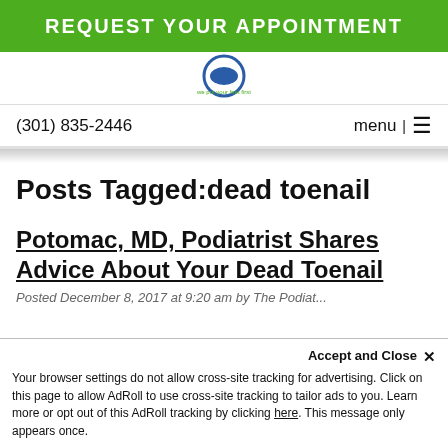REQUEST YOUR APPOINTMENT
[Figure (logo): Circular podiatry clinic logo with text 'we put your feet first']
(301) 835-2446
menu | ≡
Posts Tagged:dead toenail
Potomac, MD, Podiatrist Shares Advice About Your Dead Toenail
Posted December 8, 2017 at 9:20 am by The Podiat...
Accept and Close ✕
Your browser settings do not allow cross-site tracking for advertising. Click on this page to allow AdRoll to use cross-site tracking to tailor ads to you. Learn more or opt out of this AdRoll tracking by clicking here. This message only appears once.